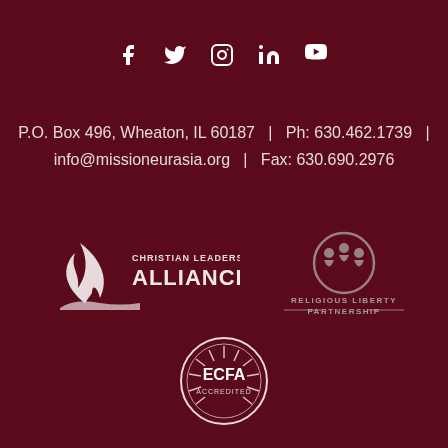[Figure (other): Social media icons: Facebook, Twitter, Instagram, LinkedIn, YouTube]
P.O. Box 496, Wheaton, IL 60187  |  Ph: 630.462.1739  |  info@missioneurasia.org  |  Fax: 630.690.2976
[Figure (logo): Christian Leadership Alliance logo with flame graphic]
[Figure (logo): Religious Liberty Partnership logo with globe graphic]
[Figure (logo): ECFA Accredited seal]